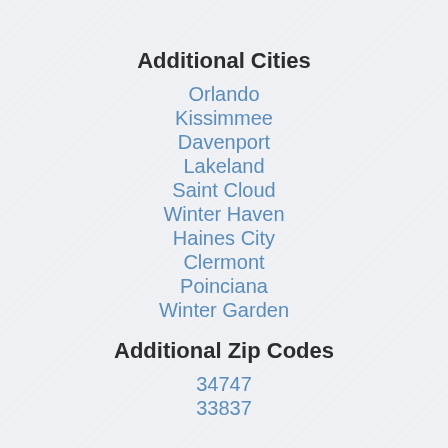Additional Cities
Orlando
Kissimmee
Davenport
Lakeland
Saint Cloud
Winter Haven
Haines City
Clermont
Poinciana
Winter Garden
Additional Zip Codes
34747
33837